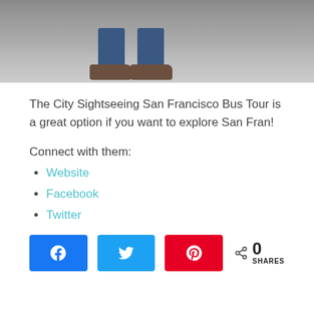[Figure (photo): Cropped photo showing person's feet and lower legs in jeans and brown shoes, standing on concrete ground]
The City Sightseeing San Francisco Bus Tour is a great option if you want to explore San Fran!
Connect with them:
Website
Facebook
Twitter
[Figure (infographic): Social share bar with Facebook, Twitter, and Pinterest buttons, plus share count showing 0 SHARES]